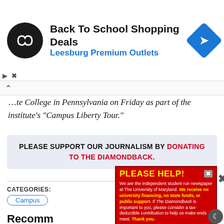[Figure (other): Top advertisement banner for Back To School Shopping Deals at Leesburg Premium Outlets with circular logo and blue diamond arrow icon]
…ite College in Pennsylvania on Friday as part of the institute's “Campus Liberty Tour.”
PLEASE SUPPORT OUR JOURNALISM BY DONATING TO THE DIAMONDBACK.
CATEGORIES:
Campus
Recomm...
[Figure (other): Red popup advertisement for The Diamondback student newspaper requesting donations with PLEASE HELP! header in yellow text]